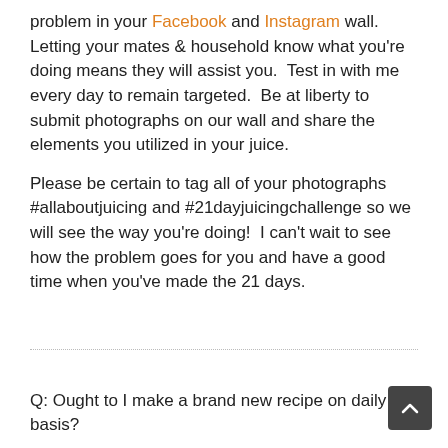problem in your Facebook and Instagram wall. Letting your mates & household know what you're doing means they will assist you. Test in with me every day to remain targeted. Be at liberty to submit photographs on our wall and share the elements you utilized in your juice.

Please be certain to tag all of your photographs #allaboutjuicing and #21dayjuicingchallenge so we will see the way you're doing! I can't wait to see how the problem goes for you and have a good time when you've made the 21 days.
Q: Ought to I make a brand new recipe on daily basis?